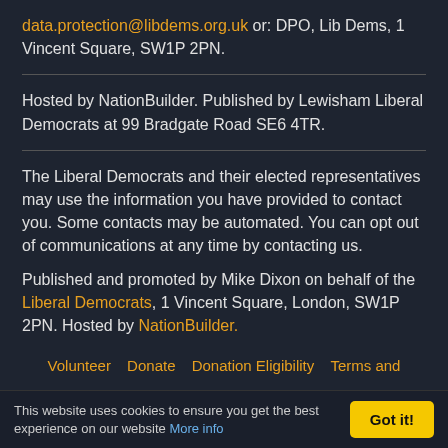data.protection@libdems.org.uk or: DPO, Lib Dems, 1 Vincent Square, SW1P 2PN.
Hosted by NationBuilder. Published by Lewisham Liberal Democrats at 99 Bradgate Road SE6 4TR.
The Liberal Democrats and their elected representatives may use the information you have provided to contact you. Some contacts may be automated. You can opt out of communications at any time by contacting us.

Published and promoted by Mike Dixon on behalf of the Liberal Democrats, 1 Vincent Square, London, SW1P 2PN. Hosted by NationBuilder.
Volunteer   Donate   Donation Eligibility   Terms and
This website uses cookies to ensure you get the best experience on our website More info